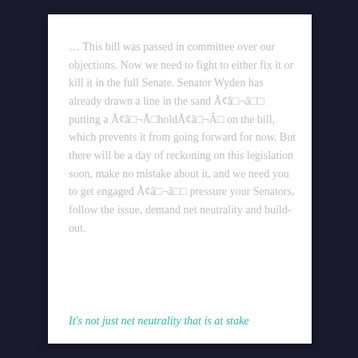… This bill was passed in committee over our objections. Now we need to fight to either fix it or kill it in the full Senate. Senator Wyden has already drawn a line in the sand Ã¢â¬âï¬ putting a Ã¢â¬Ã holdÃ¢â¬Â on the bill, which prevents it from going forward for now. But there will be a day of reckoning on this legislation soon, make no mistake about it, and we need you to get engaged Ã¢â¬âï¬ pressure your Senators, follow the issue, demand net neutrality and build-out.
It's not just net neutrality that is at stake